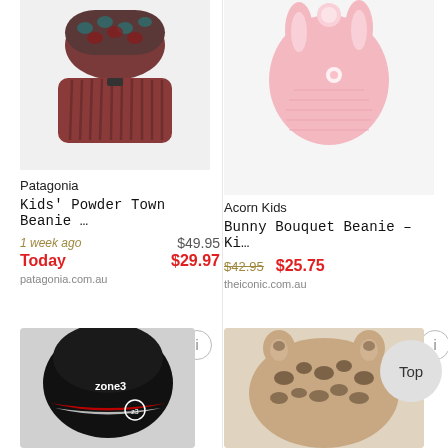[Figure (photo): Patagonia Kids Powder Town Beanie - dark red/maroon ribbed beanie with geometric patterned cuff, top half cropped]
Patagonia
Kids' Powder Town Beanie …
1 week ago   $49.95
Today   $29.97
patagonia.com.au
[Figure (photo): Acorn Kids Bunny Bouquet Beanie - pink knit beanie with bunny ears and flower detail, top half cropped]
Acorn Kids
Bunny Bouquet Beanie – Ki…
$42.95   $25.75
theiconic.com.au
[Figure (photo): Zone3 black cycling/swim skull cap helmet liner with red and white stripe detail, partially cropped at bottom]
[Figure (photo): Leopard print kids beanie/hat with animal ear details in beige and brown, partially cropped at bottom]
Top